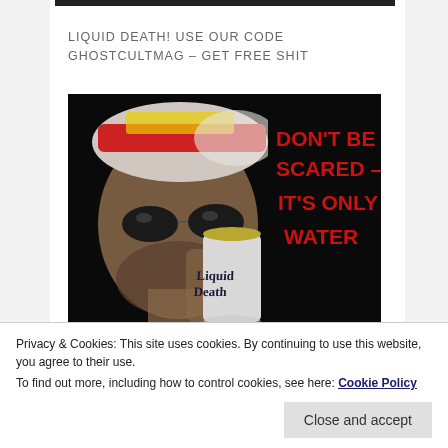LIQUID DEATH! USE OUR CODE GHOSTCULTMAG – GET FREE SHIT
[Figure (photo): A man wearing a red and white trucker hat and dark sunglasses holds up a Liquid Death water can. On the right side of the image, bold red text on a black background reads: DON'T BE SCARED – IT'S ONLY WATER]
Privacy & Cookies: This site uses cookies. By continuing to use this website, you agree to their use.
To find out more, including how to control cookies, see here: Cookie Policy
Close and accept